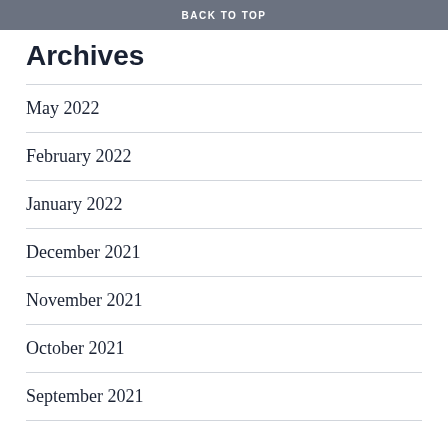BACK TO TOP
Archives
May 2022
February 2022
January 2022
December 2021
November 2021
October 2021
September 2021